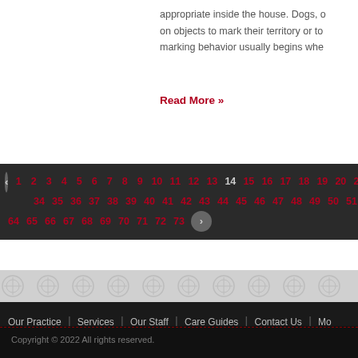appropriate inside the house. Dogs, on objects to mark their territory or to marking behavior usually begins whe
Read More »
< 1 2 3 4 5 6 7 8 9 10 11 12 13 14 15 16 17 18 19 20 21 34 35 36 37 38 39 40 41 42 43 44 45 46 47 48 49 50 51 64 65 66 67 68 69 70 71 72 73 >
Our Practice | Services | Our Staff | Care Guides | Contact Us | Mo
Copyright © 2022 All rights reserved.